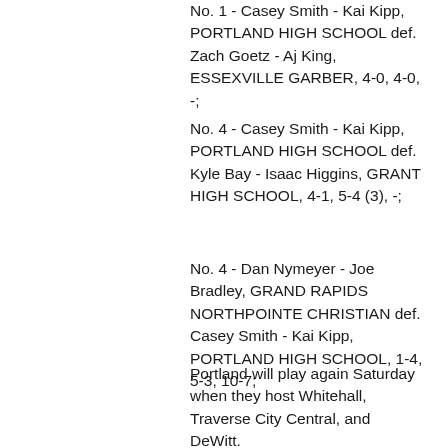No. 1 - Casey Smith - Kai Kipp, PORTLAND HIGH SCHOOL def. Zach Goetz - Aj King, ESSEXVILLE GARBER, 4-0, 4-0, -;
No. 4 - Casey Smith - Kai Kipp, PORTLAND HIGH SCHOOL def. Kyle Bay - Isaac Higgins, GRANT HIGH SCHOOL, 4-1, 5-4 (3), -;
No. 4 - Dan Nymeyer - Joe Bradley, GRAND RAPIDS NORTHPOINTE CHRISTIAN def. Casey Smith - Kai Kipp, PORTLAND HIGH SCHOOL, 1-4, 5-3, 10-7;
Portland will play again Saturday when they host Whitehall, Traverse City Central, and DeWitt.